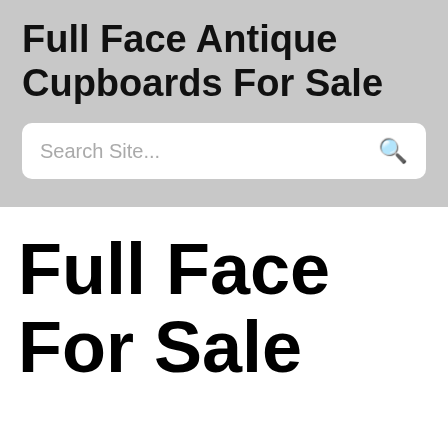Full Face Antique Cupboards For Sale
Search Site...
Full Face For Sale